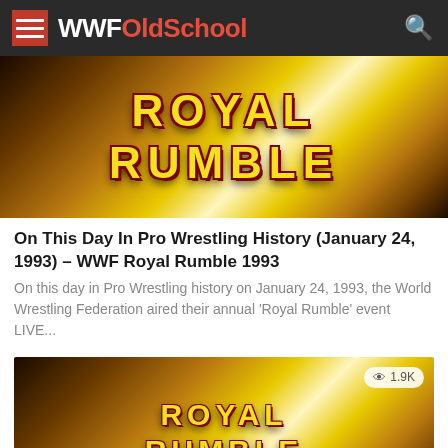WWFOldSchool
[Figure (photo): Royal Rumble logo image with yellow and dark styling]
On This Day In Pro Wrestling History (January 24, 1993) – WWF Royal Rumble 1993
On this day in Pro Wrestling history on January 24, 1993, the World Wrestling Federation aired their annual 'Royal Rumble' event LIVE...
[Figure (photo): Royal Rumble logo image — second card with 1.9K view count]